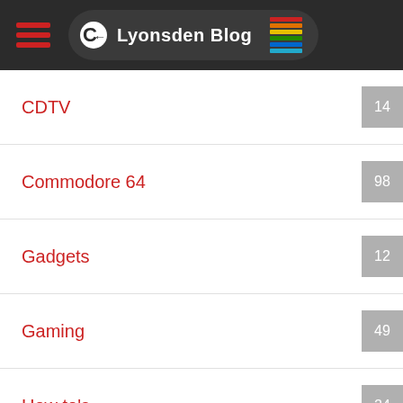Lyonsden Blog
CDTV | 14
Commodore 64 | 98
Gadgets | 12
Gaming | 49
How to's | 24
Hummer H1 | 1
Lego | 2
Models | 3
Music | 3